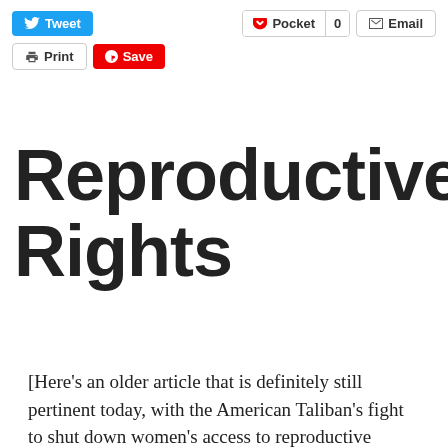[Figure (screenshot): Social sharing toolbar with Tweet (blue), Pocket with count 0, Email, Print, and Save (red Pinterest) buttons]
Reproductive Rights
[Here's an older article that is definitely still pertinent today, with the American Taliban's fight to shut down women's access to reproductive health care, closing down Planned Parenthood locations, withdrawing